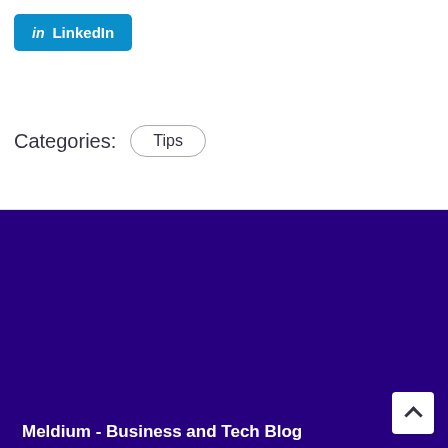[Figure (logo): LinkedIn share button with blue background and 'in' icon]
Categories:  Tips
[Figure (logo): Meldium logo - white M in a square bracket box followed by 'eldium' text on dark purple background]
Meldium - Business and Tech Blog